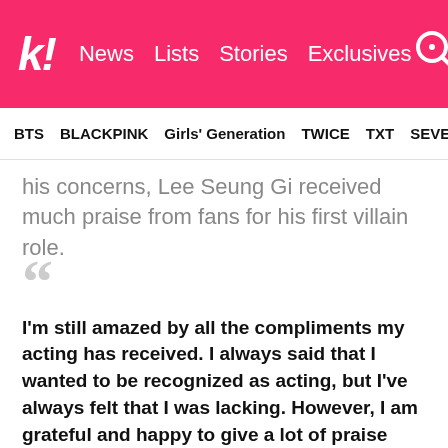k! News  Lists  Stories  Exclusives
BTS  BLACKPINK  Girls' Generation  TWICE  TXT  SEVE
his concerns, Lee Seung Gi received much praise from fans for his first villain role.
I'm still amazed by all the compliments my acting has received. I always said that I wanted to be recognized as acting, but I've always felt that I was lacking. However, I am grateful and happy to give a lot of praise through this work. — Lee Seung Gi